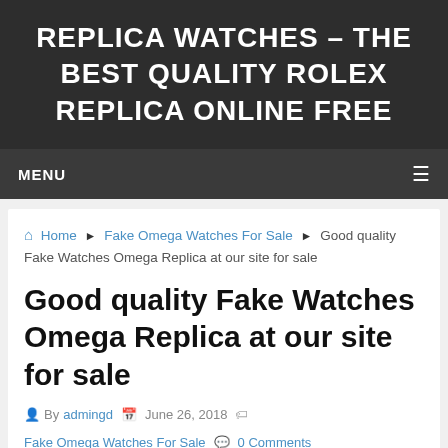REPLICA WATCHES – THE BEST QUALITY ROLEX REPLICA ONLINE FREE
MENU
Home ▸ Fake Omega Watches For Sale ▸ Good quality Fake Watches Omega Replica at our site for sale
Good quality Fake Watches Omega Replica at our site for sale
By admingd  June 26, 2018  Fake Omega Watches For Sale  0 Comments